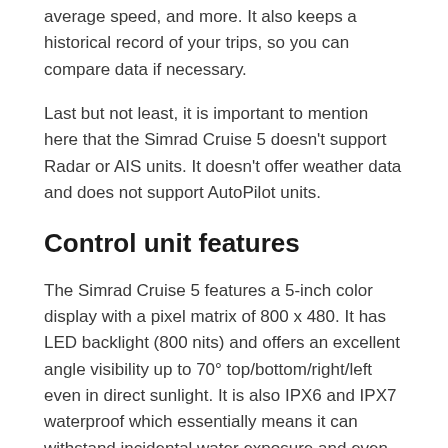average speed, and more. It also keeps a historical record of your trips, so you can compare data if necessary.
Last but not least, it is important to mention here that the Simrad Cruise 5 doesn't support Radar or AIS units. It doesn't offer weather data and does not support AutoPilot units.
Control unit features
The Simrad Cruise 5 features a 5-inch color display with a pixel matrix of 800 x 480. It has LED backlight (800 nits) and offers an excellent angle visibility up to 70° top/bottom/right/left even in direct sunlight. It is also IPX6 and IPX7 waterproof which essentially means it can withstand incidental water exposure and even immersions in freshwater.